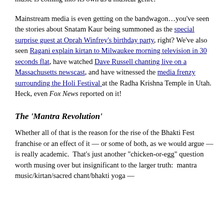music is coming into its own as a musical genre.
Mainstream media is even getting on the bandwagon…you've seen the stories about Snatam Kaur being summoned as the special surprise guest at Oprah Winfrey's birthday party, right? We've also seen Ragani explain kirtan to Milwaukee morning television in 30 seconds flat, have watched Dave Russell chanting live on a Massachusetts newscast, and have witnessed the media frenzy surrounding the Holi Festival at the Radha Krishna Temple in Utah.  Heck, even Fox News reported on it!
The 'Mantra Revolution'
Whether all of that is the reason for the rise of the Bhakti Fest franchise or an effect of it — or some of both, as we would argue — is really academic.  That's just another "chicken-or-egg" question worth musing over but insignificant to the larger truth:  mantra music/kirtan/sacred chant/bhakti yoga —